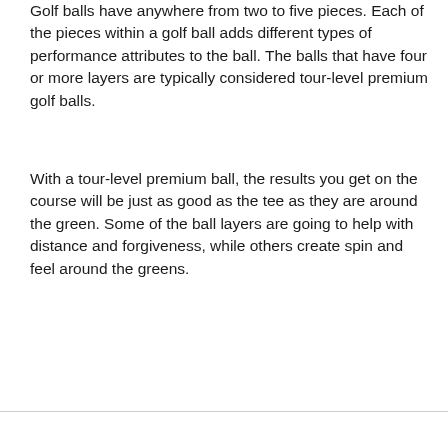Golf balls have anywhere from two to five pieces. Each of the pieces within a golf ball adds different types of performance attributes to the ball. The balls that have four or more layers are typically considered tour-level premium golf balls.
With a tour-level premium ball, the results you get on the course will be just as good as the tee as they are around the green. Some of the ball layers are going to help with distance and forgiveness, while others create spin and feel around the greens.